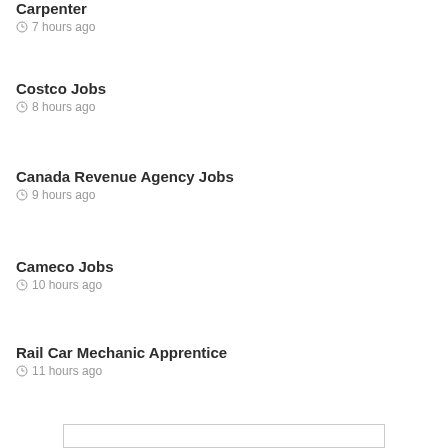Carpenter
7 hours ago
Costco Jobs
8 hours ago
Canada Revenue Agency Jobs
9 hours ago
Cameco Jobs
10 hours ago
Rail Car Mechanic Apprentice
11 hours ago